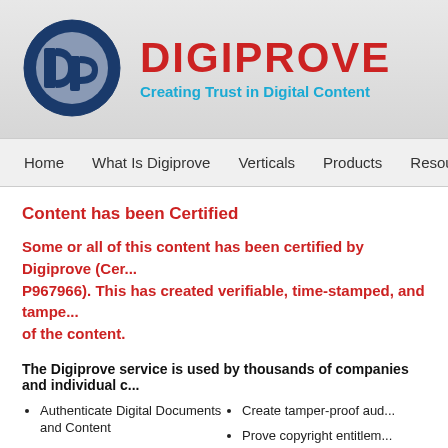[Figure (logo): Digiprove logo: circular dark blue icon with 'dp' letters, red DIGIPROVE text, blue tagline 'Creating Trust in Digital Content']
Home  |  What Is Digiprove  |  Verticals  |  Products  |  Resources  |  Pricing
Content has been Certified
Some or all of this content has been certified by Digiprove (Certificate number P967966). This has created verifiable, time-stamped, and tamper-proof records of the content.
The Digiprove service is used by thousands of companies and individual c...
Authenticate Digital Documents and Content
Prove compliance
Prove data integrity
Protect legal position
Create tamper-proof aud...
Prove copyright entitlem...
Prove ownership of intel...